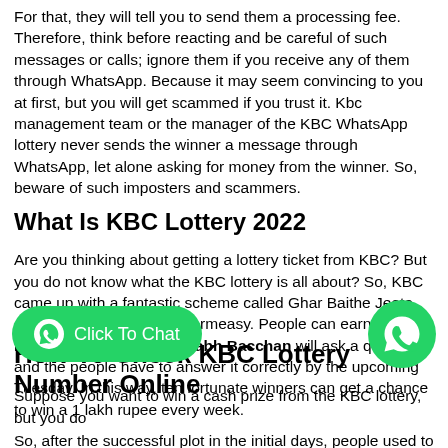For that, they will tell you to send them a processing fee. Therefore, think before reacting and be careful of such messages or calls; ignore them if you receive any of them through WhatsApp. Because it may seem convincing to you at first, but you will get scammed if you trust it. Kbc management team or the manager of the KBC WhatsApp lottery never sends the winner a message through WhatsApp, let alone asking for money from the winner. So, beware of such imposters and scammers.
What Is KBC Lottery 2022
Are you thinking about getting a lottery ticket from KBC? But you do not know what the KBC lottery is all about? So, KBC came up with a fantastic scheme called Ghar Baithe Jeeto Jackpot paired up with Pharmeasy. People can earn 1 lakh rupee every Friday, Amitabh Bacchan will ask a question, and the people have to answer it correctly by the upcoming Tuesday. In this way, ten fortunate winners can get a chance to win a 1 lakh rupee every week.
So, after the successful plot in the initial days, people used to get their lottery number from the KBC head office. Later on, when people responded to a vast number, the KBC team changed the method to online so that people could get their ticket numbers from online without
[Figure (other): Two WhatsApp-styled green buttons: a long pill-shaped button with WhatsApp logo icon and text 'Click To Chat', and a circular button with WhatsApp logo icon on the right side]
How To Check KBC Lottery Number Online
Suppose you want to win a cash prize from the KBC lottery, but you do